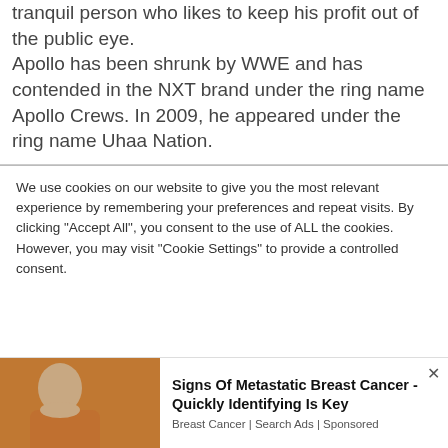tranquil person who likes to keep his profit out of the public eye. Apollo has been shrunk by WWE and has contended in the NXT brand under the ring name Apollo Crews. In 2009, he appeared under the ring name Uhaa Nation.
We use cookies on our website to give you the most relevant experience by remembering your preferences and repeat visits. By clicking "Accept All", you consent to the use of ALL the cookies. However, you may visit "Cookie Settings" to provide a controlled consent.
[Figure (photo): Photo of a person wearing a brown/orange short-sleeve shirt, partially visible on the left side of an advertisement bar]
Signs Of Metastatic Breast Cancer - Quickly Identifying Is Key
Breast Cancer | Search Ads | Sponsored